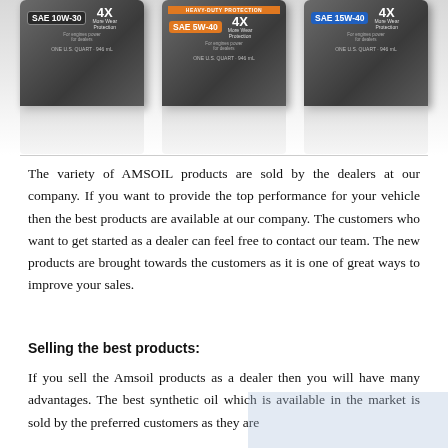[Figure (photo): Three AMSOIL motor oil bottles side by side: SAE 10W-30 (gray label), SAE 5W-40 (orange label, Heavy-Duty Protection banner), and SAE 15W-40 (blue label). Each shows '4X More Wear Protection' and 'ONE U.S. QUART - 946 mL'. Bottles have reflections below.]
The variety of AMSOIL products are sold by the dealers at our company. If you want to provide the top performance for your vehicle then the best products are available at our company. The customers who want to get started as a dealer can feel free to contact our team. The new products are brought towards the customers as it is one of great ways to improve your sales.
Selling the best products:
If you sell the Amsoil products as a dealer then you will have many advantages. The best synthetic oil which is available in the market is sold by the preferred customers as they are